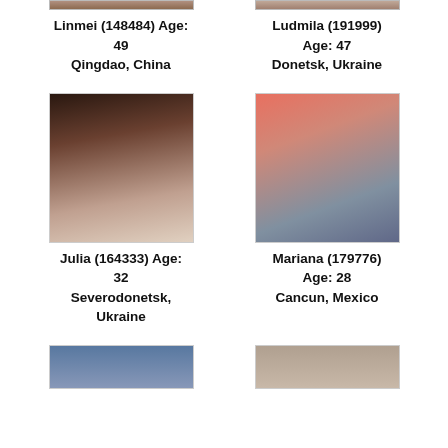[Figure (photo): Partial photo of Linmei, cropped at top]
Linmei (148484) Age: 49
Qingdao, China
[Figure (photo): Partial photo of Ludmila, cropped at top]
Ludmila (191999) Age: 47
Donetsk, Ukraine
[Figure (photo): Full photo of Julia in white dress]
Julia (164333) Age: 32
Severodonetsk, Ukraine
[Figure (photo): Full photo of Mariana with floral background]
Mariana (179776) Age: 28
Cancun, Mexico
[Figure (photo): Partial photo at bottom left, cropped]
[Figure (photo): Partial photo at bottom right, cropped]